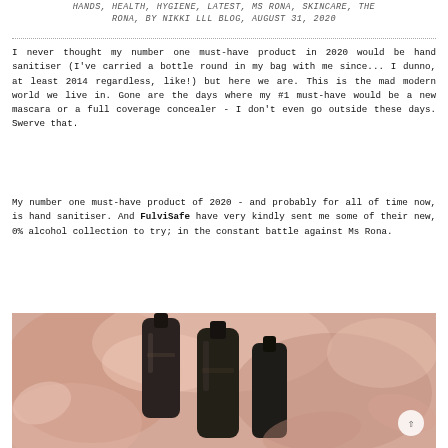HANDS, HEALTH, HYGIENE, LATEST, MS RONA, SKINCARE, THE RONA, BY NIKKI LLL BLOG, AUGUST 31, 2020
I never thought my number one must-have product in 2020 would be hand sanitiser (I've carried a bottle round in my bag with me since... I dunno, at least 2014 regardless, like!) but here we are. This is the mad modern world we live in. Gone are the days where my #1 must-have would be a new mascara or a full coverage concealer - I don't even go outside these days. Swerve that.
My number one must-have product of 2020 - and probably for all of time now, is hand sanitiser. And FulviSafe have very kindly sent me some of their new, 0% alcohol collection to try; in the constant battle against Ms Rona.
[Figure (photo): Photo of dark-colored hand sanitiser bottles against a pink/peach fabric background]